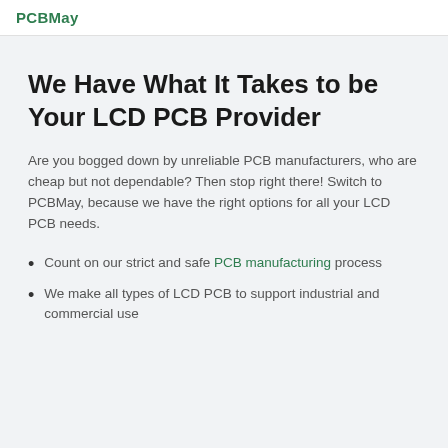PCBMay
We Have What It Takes to be Your LCD PCB Provider
Are you bogged down by unreliable PCB manufacturers, who are cheap but not dependable? Then stop right there! Switch to PCBMay, because we have the right options for all your LCD PCB needs.
Count on our strict and safe PCB manufacturing process
We make all types of LCD PCB to support industrial and commercial use